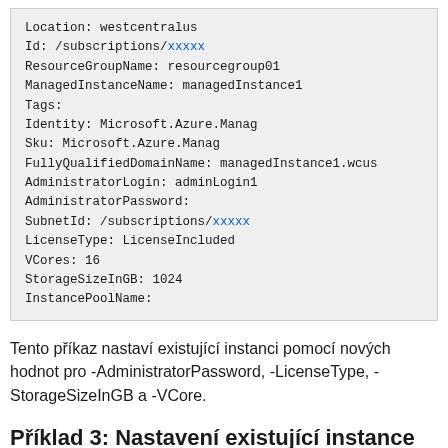[Figure (screenshot): Code/terminal output block showing Azure Managed Instance properties: Location: westcentralus, Id: /subscriptions/xxxxx, ResourceGroupName: resourcegroup01, ManagedInstanceName: managedInstance1, Tags: (empty), Identity: Microsoft.Azure.Manag..., Sku: Microsoft.Azure.Manag..., FullyQualifiedDomainName: managedInstance1.wcus..., AdministratorLogin: adminLogin1, AdministratorPassword: (empty), SubnetId: /subscriptions/xxxxx, LicenseType: LicenseIncluded, VCores: 16, StorageSizeInGB: 1024, InstancePoolName: (empty)]
Tento příkaz nastaví existující instanci pomocí nových hodnot pro -AdministratorPassword, -LicenseType, -StorageSizeInGB a -VCore.
Příklad 3: Nastavení existující instance